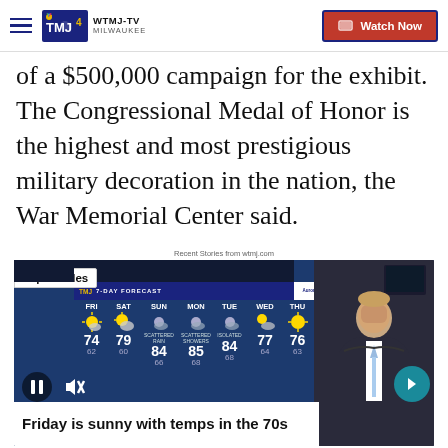WTMJ-TV MILWAUKEE | Watch Now
of a $500,000 campaign for the exhibit. The Congressional Medal of Honor is the highest and most prestigious military decoration in the nation, the War Memorial Center said.
Recent Stories from wtmj.com
[Figure (screenshot): WTMJ-TV weather forecast video screenshot showing a 7-day forecast (FRI through THU) with temperatures. FRI: 74/62, SAT: 79/60, SUN: 84/66, MON: 85/68, TUE: 84/68, WED: 77/64, THU: 76/63. A news anchor stands to the right. Lower caption bar reads: Friday is sunny with temps in the 70s]
Friday is sunny with temps in the 70s